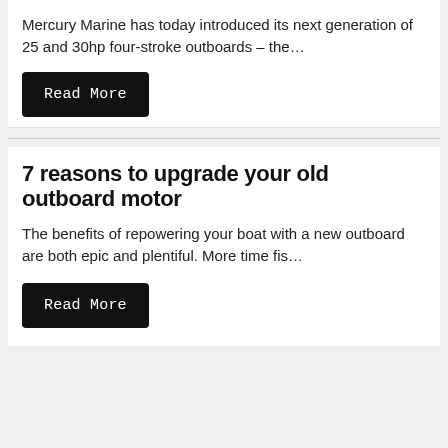Mercury Marine has today introduced its next generation of 25 and 30hp four-stroke outboards – the…
Read More
7 reasons to upgrade your old outboard motor
The benefits of repowering your boat with a new outboard are both epic and plentiful. More time fis…
Read More